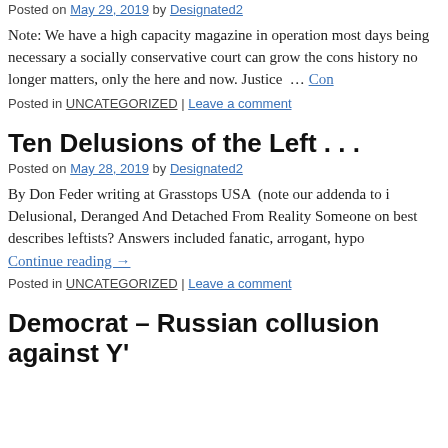Posted on May 29, 2019 by Designated2
Note: We have a high capacity magazine in operation most days being necessary a socially conservative court can grow the cons history no longer matters, only the here and now. Justice … Con
Posted in UNCATEGORIZED | Leave a comment
Ten Delusions of the Left . . .
Posted on May 28, 2019 by Designated2
By Don Feder writing at Grasstops USA (note our addenda to i Delusional, Deranged And Detached From Reality Someone on best describes leftists? Answers included fanatic, arrogant, hypo
Continue reading →
Posted in UNCATEGORIZED | Leave a comment
Democrat – Russian collusion against Y'